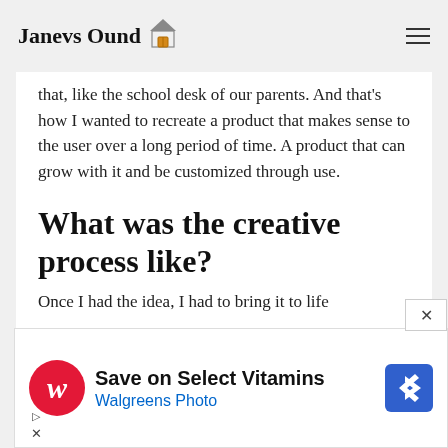Janevs Ound 🏠
that, like the school desk of our parents. And that's how I wanted to recreate a product that makes sense to the user over a long period of time. A product that can grow with it and be customized through use.
What was the creative process like?
Once I had the idea, I had to bring it to life
[Figure (other): Walgreens advertisement banner: 'Save on Select Vitamins / Walgreens Photo' with Walgreens W logo and navigation arrow icon. Close button (×) in top-right corner.]